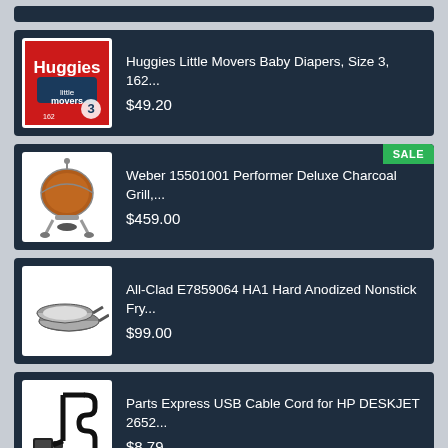[Figure (other): Partial product card at top (cropped)]
Huggies Little Movers Baby Diapers, Size 3, 162... $49.20
Weber 15501001 Performer Deluxe Charcoal Grill,... $459.00 SALE
All-Clad E7859064 HA1 Hard Anodized Nonstick Fry... $99.00
Parts Express USB Cable Cord for HP DESKJET 2652... $8.79
[Figure (other): Partial product card at bottom with SALE badge (cropped)]